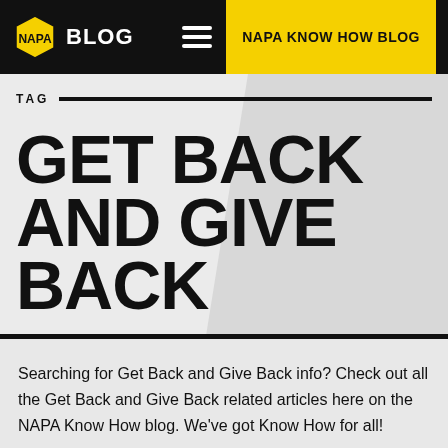NAPA BLOG | NAPA KNOW HOW BLOG
TAG
GET BACK AND GIVE BACK
Searching for Get Back and Give Back info? Check out all the Get Back and Give Back related articles here on the NAPA Know How blog. We've got Know How for all!